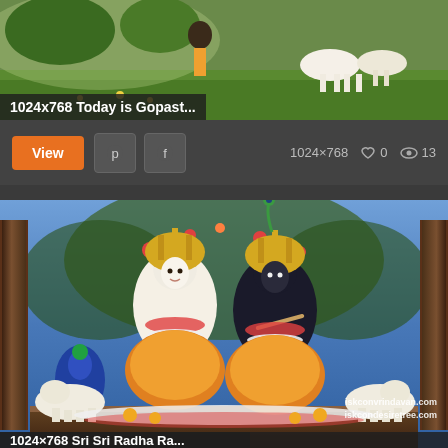[Figure (photo): Top strip showing Krishna/Gopastami themed painting with cows on green grass]
1024x768 Today is Gopast...
View  |  Pinterest  |  Facebook  |  1024×768  |  ♡ 0  |  👁 13
[Figure (photo): Main image of elaborately decorated Hindu deities (Radha Krishna) with floral decorations, peacocks, and cows. Watermarks: iskconvrindavan.com and iskcondesiretree.com]
iskconvrindavan.com
iskcondesiretree.com